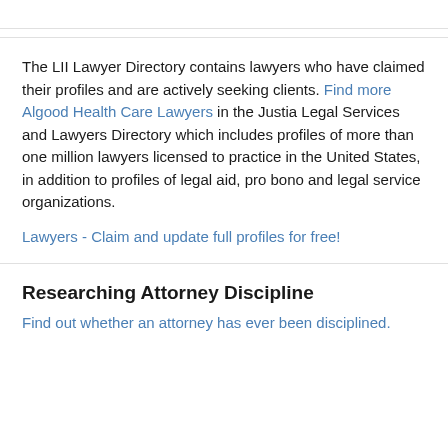The LII Lawyer Directory contains lawyers who have claimed their profiles and are actively seeking clients. Find more Algood Health Care Lawyers in the Justia Legal Services and Lawyers Directory which includes profiles of more than one million lawyers licensed to practice in the United States, in addition to profiles of legal aid, pro bono and legal service organizations.
Lawyers - Claim and update full profiles for free!
Researching Attorney Discipline
Find out whether an attorney has ever been disciplined.